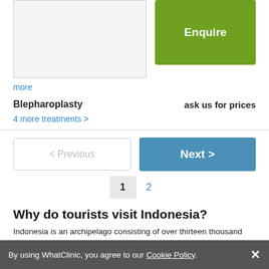[Figure (screenshot): Text area input box (grayed background)]
[Figure (screenshot): Green Enquire button]
more
Blepharoplasty    ask us for prices
4 more treatments >
[Figure (screenshot): < Previous button (outline style)]
[Figure (screenshot): Next > button (blue)]
1   2
Why do tourists visit Indonesia?
Indonesia is an archipelago consisting of over thirteen thousand Islands in South East Asia. It is rich in natural wonders and unique cultures. There are majestic ancient Hindu and Buddhist temples across the country and many cities have stately colonial Dutch buildings and art deco structures. Half of Indonesia is
By using WhatClinic, you agree to our Cookie Policy.   ✕